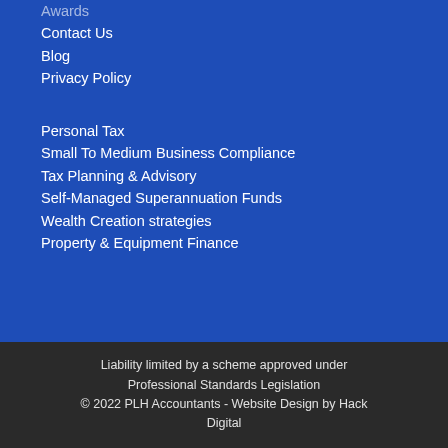Awards
Contact Us
Blog
Privacy Policy
Personal Tax
Small To Medium Business Compliance
Tax Planning & Advisory
Self-Managed Superannuation Funds
Wealth Creation strategies
Property & Equipment Finance
Liability limited by a scheme approved under Professional Standards Legislation
© 2022 PLH Accountants - Website Design by Hack Digital